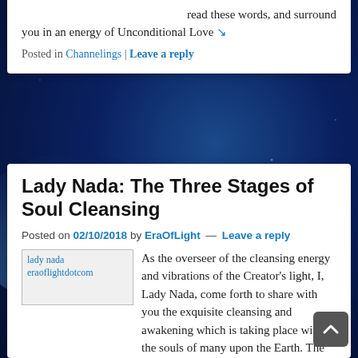read these words, and surround you in an energy of Unconditional Love ➘
Posted in Channelings | Leave a reply
Lady Nada: The Three Stages of Soul Cleansing
Posted on 02/10/2018 by EraOfLight — Leave a reply
[Figure (photo): lady nada eraoflightdotcom image placeholder]
As the overseer of the cleansing energy and vibrations of the Creator's light, I, Lady Nada, come forth to share with you the exquisite cleansing and awakening which is taking place within the souls of many upon the Earth. The ascension process is moving so fast currently that it is difficult ➘